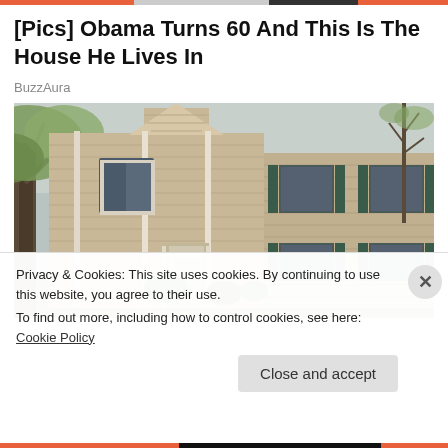[Pics] Obama Turns 60 And This Is The House He Lives In
BuzzAura
[Figure (photo): Exterior photo of a two-story beige/tan house with horizontal siding, white trim, dark shutters, front entrance door, trees in background with spring foliage]
Privacy & Cookies: This site uses cookies. By continuing to use this website, you agree to their use.
To find out more, including how to control cookies, see here: Cookie Policy
Close and accept